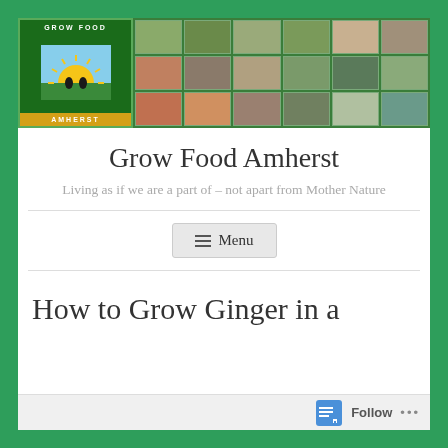[Figure (logo): Grow Food Amherst logo with banner photos collage showing community gardening activities]
Grow Food Amherst
Living as if we are a part of – not apart from Mother Nature
≡  Menu
How to Grow Ginger in a
Follow